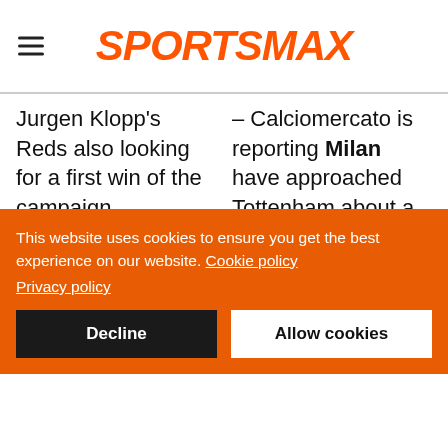SPORTSMAX
Jurgen Klopp's Reds also looking for a first win of the campaign.
– Calciomercato is reporting Milan have approached Tottenham about a potential transfer for 23-year-old English centre-back Japhet Tangana. Tottenham and
This website uses cookies to ensure you get the best experience on our website. Cookie policy Privacy policy
Decline
Allow cookies